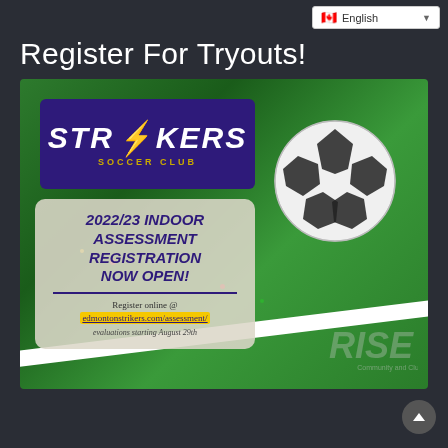English
Register For Tryouts!
[Figure (photo): Strikers Soccer Club promotional image for 2022/23 Indoor Assessment Registration. Shows a soccer ball against a fence on a grass field. Contains the Strikers Soccer Club logo (purple background with yellow lightning bolt), text reading '2022/23 INDOOR ASSESSMENT REGISTRATION NOW OPEN!', 'Register online @ edmontonstrikers.com/assessment/', 'evaluations starting August 29th', and a RISE Community and Club watermark.]